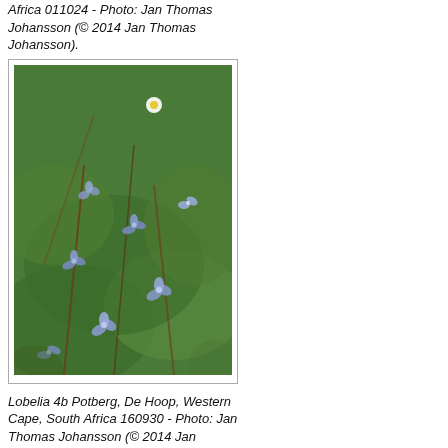Africa 011024 - Photo: Jan Thomas Johansson (© 2014 Jan Thomas Johansson).
[Figure (photo): Close-up photograph of Lobelia plant with small blue/violet flowers amid green mossy foliage, taken at Potberg, De Hoop, Western Cape, South Africa.]
Lobelia 4b Potberg, De Hoop, Western Cape, South Africa 160930 - Photo: Jan Thomas Johansson (© 2014 Jan Thomas Johansson).
[Figure (photo): Partial view of another photograph at the bottom of the page, showing vegetation.]